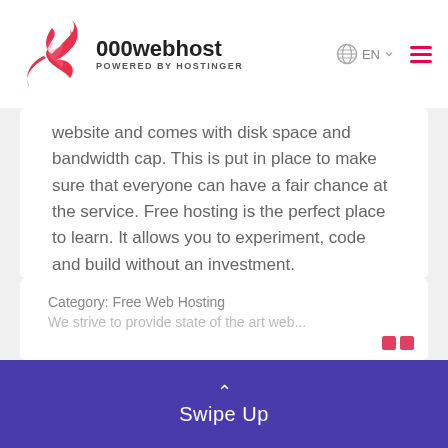[Figure (logo): 000webhost logo with red swirl icon and text '000webhost POWERED BY HOSTINGER']
website and comes with disk space and bandwidth cap. This is put in place to make sure that everyone can have a fair chance at the service. Free hosting is the perfect place to learn. It allows you to experiment, code and build without an investment.
Paid hosting services typically have more functionality, have added features and much larger data and bandwidth caps. You get an overall more professional and flexible experience.
Category: Free Web Hosting
Swipe Up